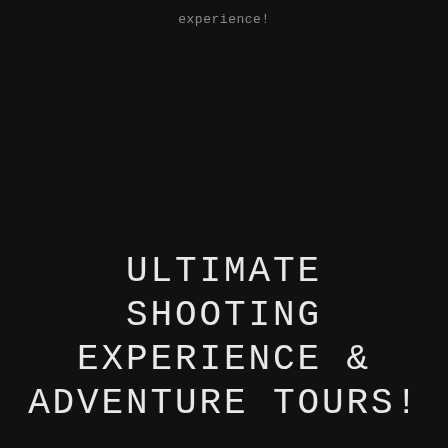experience!
ULTIMATE SHOOTING EXPERIENCE & ADVENTURE TOURS!